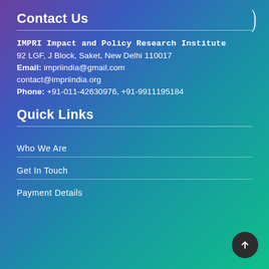Contact Us
IMPRI Impact and Policy Research Institute
92 LGF, J Block, Saket, New Delhi 110017
Email: impriindia@gmail.com
contact@impriindia.org
Phone: +91-011-42630976, +91-9911195184
Quick Links
Who We Are
Get In Touch
Payment Details